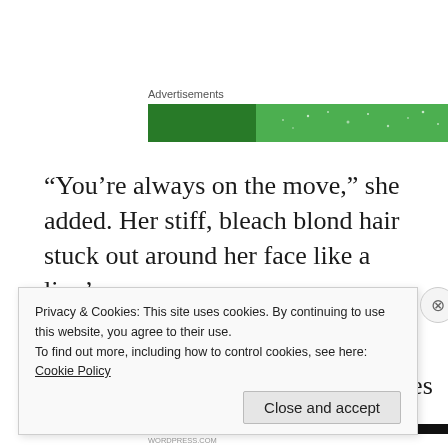Advertisements
[Figure (other): Green advertisement banner with sparkle dots]
“You’re always on the move,” she added. Her stiff, bleach blond hair stuck out around her face like a lion’s mane.
He tried to break the tension. “Hey, you didn’t complain about my moves earlier.”
Privacy & Cookies: This site uses cookies. By continuing to use this website, you agree to their use.
To find out more, including how to control cookies, see here: Cookie Policy
Close and accept